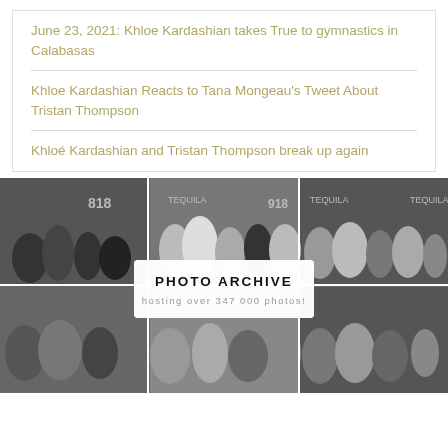June 23, 2021: Khloe Kardashian takes True to gymnastics in Calabasas
Khloe Kardashian Reacts to Tana Mongeau's Tweet About Tristan Thompson
Khloé Kardashian and Tristan Thompson break up again
[Figure (photo): Black and white photo collage showing a group of people at what appears to be an 818 Tequila event, with multiple panels showing different views of the crowd. Overlaid with a white semi-transparent box.]
PHOTO ARCHIVE
hosting over 347 000 photos!